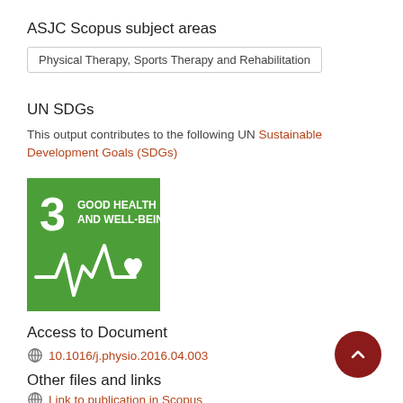ASJC Scopus subject areas
Physical Therapy, Sports Therapy and Rehabilitation
UN SDGs
This output contributes to the following UN Sustainable Development Goals (SDGs)
[Figure (infographic): SDG 3 badge: green square with number 3 and text GOOD HEALTH AND WELL-BEING with heartbeat/heart icon in white]
Access to Document
10.1016/j.physio.2016.04.003
Other files and links
Link to publication in Scopus